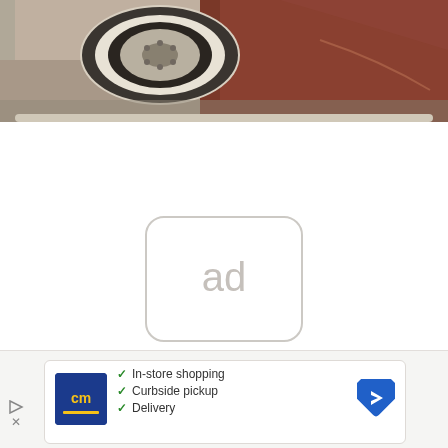[Figure (photo): Top portion of a vintage car showing a white-walled tire/wheel hubcap and a rust-colored body panel, photographed from above at an angle in what appears to be a garage or workshop setting.]
[Figure (other): Ad placeholder graphic — a rounded rectangle outline containing the text 'ad' in light gray, indicating an advertisement space.]
[Figure (other): Advertisement banner for a store showing a dark blue square logo with 'cm' in yellow text, a checklist with green checkmarks listing 'In-store shopping', 'Curbside pickup', 'Delivery', and a blue diamond-shaped navigation arrow icon on the right.]